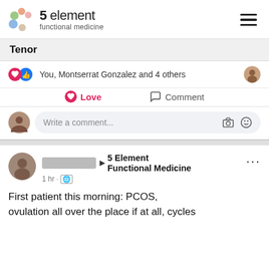[Figure (logo): 5 element functional medicine logo with colored dots and text]
Tenor
You, Montserrat Gonzalez and 4 others
Love   Comment
Write a comment...
[Figure (photo): Blurred profile photo of post author]
[blurred name] ▶ 5 Element Functional Medicine
1 hr · 🌐

First patient this morning: PCOS, ovulation all over the place if at all, cycles